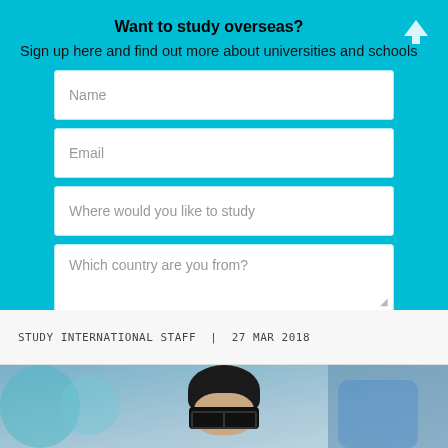Want to study overseas?
Sign up here and find out more about universities and schools
[Figure (screenshot): A web sign-up form with four input fields: Name, Email, Where would you like to study, Which country are you from?, and a Submit button. Set against a teal/cyan background.]
STUDY INTERNATIONAL STAFF  |  27 MAR 2018
[Figure (photo): A blurred crowd photo showing a person wearing novelty GRAD graduation glasses in the foreground.]